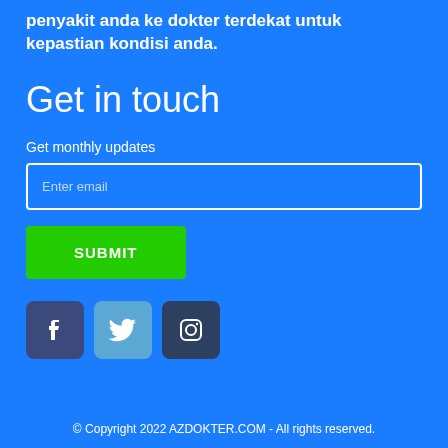penyakit anda ke dokter terdekat untuk kepastian kondisi anda.
Get in touch
Get monthly updates
Enter email
SUBMIT
[Figure (infographic): Social media icons: Facebook, Twitter, Instagram]
© Copyright 2022 AZDOKTER.COM - All rights reserved.